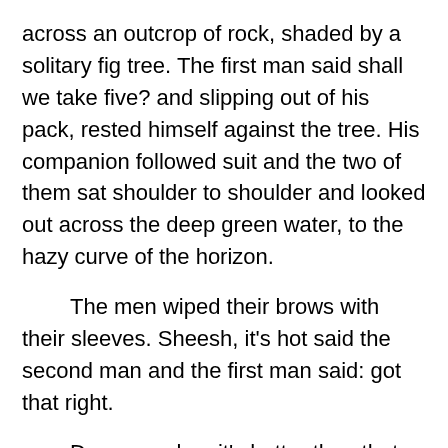across an outcrop of rock, shaded by a solitary fig tree. The first man said shall we take five? and slipping out of his pack, rested himself against the tree. His companion followed suit and the two of them sat shoulder to shoulder and looked out across the deep green water, to the hazy curve of the horizon.
The men wiped their brows with their sleeves. Sheesh, it's hot said the second man and the first man said: got that right.
Do you reckon it's hotter than that place last year?
Which one?
The city on the river. With the date palms.
I don't know.